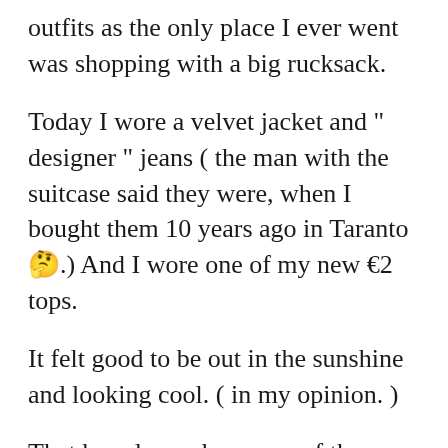outfits as the only place I ever went was shopping with a big rucksack.
Today I wore a velvet jacket and “ designer ” jeans ( the man with the suitcase said they were, when I bought them 10 years ago in Taranto🤔.) And I wore one of my new €2 tops.
It felt good to be out in the sunshine and looking cool. ( in my opinion. )
That has always been one of the things I like about living here. If I want to dress up its okay. Everybody does it.